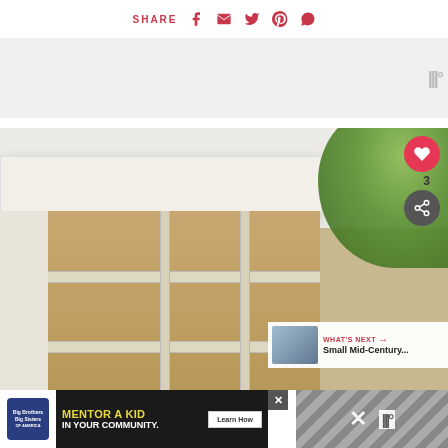SHARE
[Figure (photo): White painted wooden shelf/TV unit with open compartments, golden-brown interior, photographed outdoors with green plants in background]
WHAT'S NEXT → Small Mid-Century...
[Figure (infographic): Advertisement banner: Big Brothers Big Sisters - MENTOR A KID IN YOUR COMMUNITY. Learn How button. Close X button on right side.]